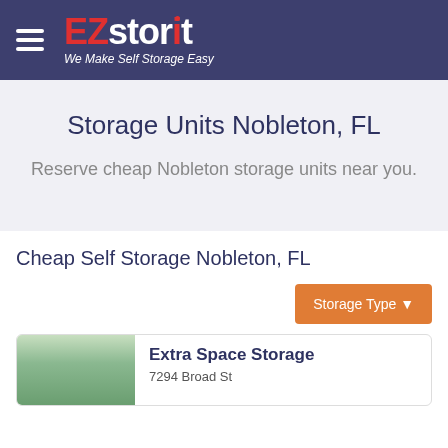EZstorit - We Make Self Storage Easy
Storage Units Nobleton, FL
Reserve cheap Nobleton storage units near you.
Cheap Self Storage Nobleton, FL
Storage Type
Extra Space Storage
7294 Broad St